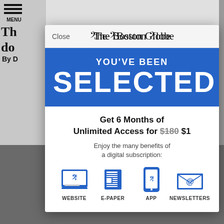[Figure (screenshot): Screenshot of The Boston Globe website with a subscription modal overlay. Background shows newspaper article text and a menu icon. The modal shows 'The Boston Globe' logo at top, a blue section saying 'YOU'VE BEEN SELECTED', and a white section with '6 Months of Unlimited Access for $180 $1' offer, benefits text, and four icons: Website, E-Paper, App, Newsletters.]